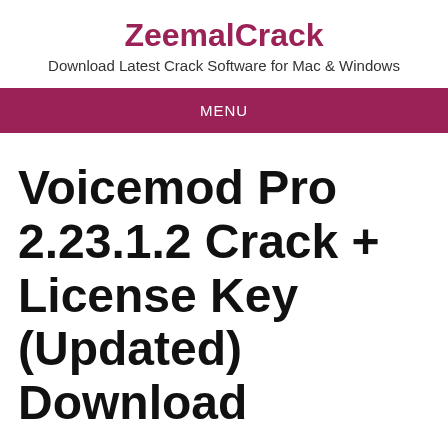ZeemalCrack
Download Latest Crack Software for Mac & Windows
MENU
Voicemod Pro 2.23.1.2 Crack + License Key (Updated) Download
Download NOW